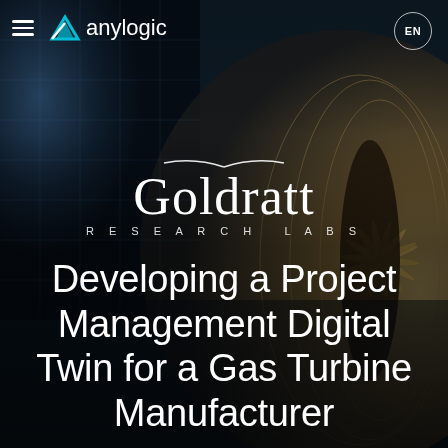anylogic
[Figure (photo): Close-up photograph of gas turbine engine blades and mechanical components with blue digital blueprint overlay on left side, dark industrial background]
[Figure (logo): Goldratt Research Labs logo in white — large serif 'Goldratt' text with curved arc above and 'RESEARCH LABS' subtitle in spaced capitals]
Developing a Project Management Digital Twin for a Gas Turbine Manufacturer